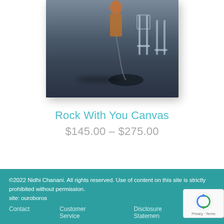[Figure (photo): Partial photo of a dark scene showing what appears to be chairs or furniture on a dark floor/surface, bottom portion of the image visible.]
Rock With You Canvas
$145.00 – $275.00
©2022 Nidhi Chanani. All rights reserved. Use of content on this site is strictly prohibited without permission.
site: ouroboros
Contact   Customer Service   Disclosure Statement